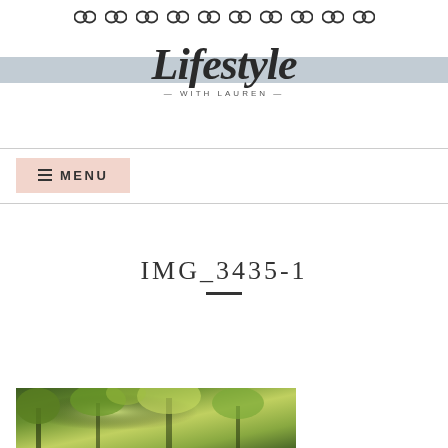[Figure (other): Row of chain link / social media icons across the top of the page]
[Figure (logo): Lifestyle with Lauren blog logo — cursive script 'Lifestyle' over a grey horizontal band with '— WITH LAUREN —' below]
[Figure (other): Pink menu button with hamburger lines and text MENU]
IMG_3435-1
[Figure (photo): Partial photo of green outdoor foliage / trees scene at bottom of page]